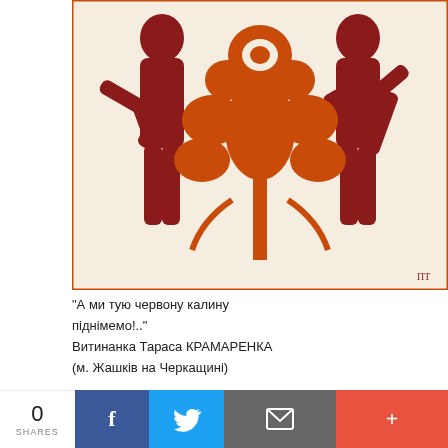[Figure (illustration): Ukrainian folk art papercut (vytynanka) showing two figures in traditional dress flanking an ornate tree/flower arrangement, in dark red/brown on cream background]
"А ми тую червону калину піднімемо!.."
Витинанка Тараса КРАМАРЕНКА
(м. Жашків на Черкащині)
TEEN-TEAM
[Figure (illustration): Crowd of people with yellow and blue colors, representing Ukrainian youth]
Ми особливі, чи не так?
Натовп швидко рухається у зворотній від вас бік. На обличчях – яскраві емоції. Люди поспішають, не звертаючи ні на кого уваги.